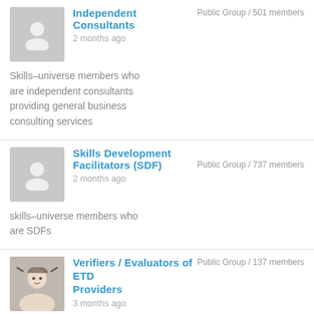[Figure (illustration): Gray avatar placeholder icon for Independent Consultants group]
Independent Consultants
Public Group / 501 members
2 months ago
Skills-universe members who are independent consultants providing general business consulting services
[Figure (illustration): Gray avatar placeholder icon for Skills Development Facilitators group]
Skills Development Facilitators (SDF)
Public Group / 737 members
2 months ago
skills-universe members who are SDFs
[Figure (photo): Photo of a woman with hands on head for Verifiers / Evaluators of ETD Providers group]
Verifiers / Evaluators of ETD Providers
Public Group / 137 members
3 months ago
A group for qualified Verifiers/Evaluators of Education, Training and...